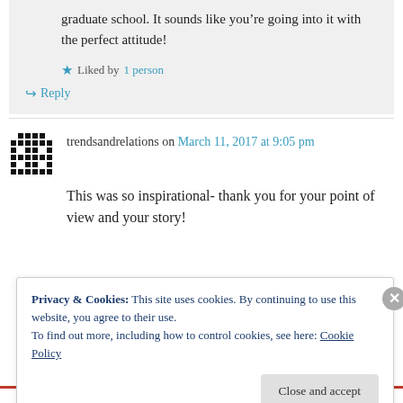graduate school. It sounds like you're going into it with the perfect attitude!
Liked by 1 person
↳ Reply
trendsandrelations on March 11, 2017 at 9:05 pm
This was so inspirational- thank you for your point of view and your story!
Privacy & Cookies: This site uses cookies. By continuing to use this website, you agree to their use. To find out more, including how to control cookies, see here: Cookie Policy
Close and accept